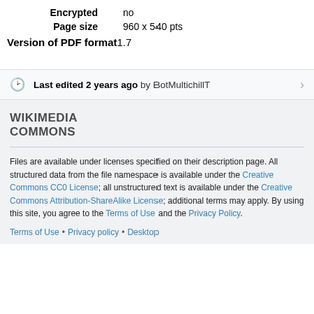| Encrypted | no |
| Page size | 960 x 540 pts |
Version of PDF format 1.7
Last edited 2 years ago by BotMultichillT
[Figure (logo): Wikimedia Commons logo text]
Files are available under licenses specified on their description page. All structured data from the file namespace is available under the Creative Commons CC0 License; all unstructured text is available under the Creative Commons Attribution-ShareAlike License; additional terms may apply. By using this site, you agree to the Terms of Use and the Privacy Policy.
Terms of Use • Privacy policy • Desktop